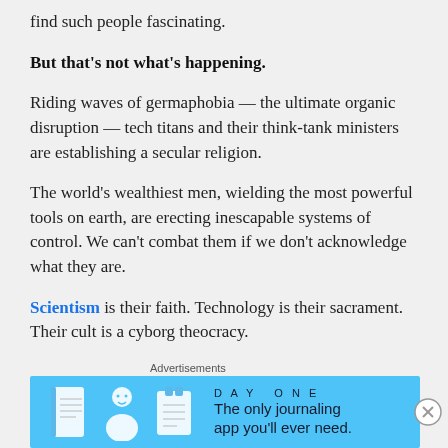find such people fascinating.
But that's not what's happening.
Riding waves of germaphobia — the ultimate organic disruption — tech titans and their think-tank ministers are establishing a secular religion.
The world's wealthiest men, wielding the most powerful tools on earth, are erecting inescapable systems of control. We can't combat them if we don't acknowledge what they are.
Scientism is their faith. Technology is their sacrament. Their cult is a cyborg theocracy.
Even if they rain fire from the sky with the press of a
[Figure (screenshot): Advertisement banner for Day One journaling app on a light blue background with illustrated icons of a journal, person, and notepad, with text 'DAY ONE' and 'The only journaling app you'll ever need.']